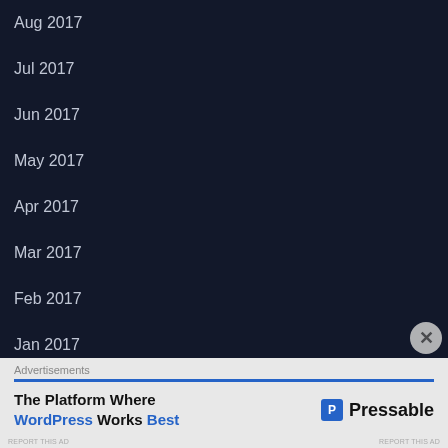Aug 2017
Jul 2017
Jun 2017
May 2017
Apr 2017
Mar 2017
Feb 2017
Jan 2017
Dec 2016
Advertisements
The Platform Where WordPress Works Best   Pressable